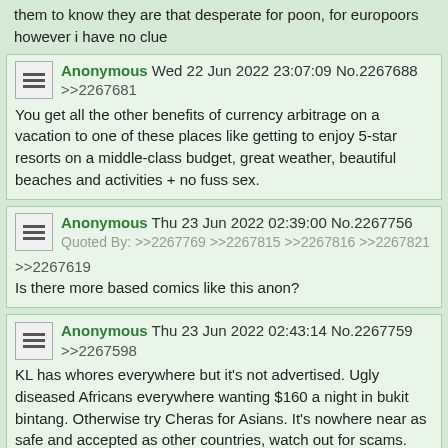them to know they are that desperate for poon, for europoors however i have no clue
Anonymous Wed 22 Jun 2022 23:07:09 No.2267688
>>2267681
You get all the other benefits of currency arbitrage on a vacation to one of these places like getting to enjoy 5-star resorts on a middle-class budget, great weather, beautiful beaches and activities + no fuss sex.
Anonymous Thu 23 Jun 2022 02:39:00 No.2267756
Quoted By: >>2267769 >>2267815 >>2267816 >>2267821
>>2267619
Is there more based comics like this anon?
Anonymous Thu 23 Jun 2022 02:43:14 No.2267759
>>2267598
KL has whores everywhere but it's not advertised. Ugly diseased Africans everywhere wanting $160 a night in bukit bintang. Otherwise try Cheras for Asians. It's nowhere near as safe and accepted as other countries, watch out for scams.

Singapore is great, four floors of whores is a lot of fun, name is exactly what it is, freelancers everywhere, they'll try to sell you their wares